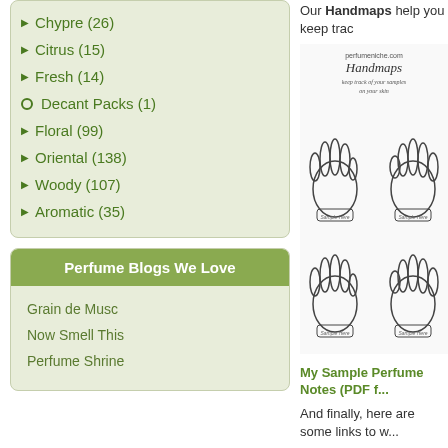Chypre (26)
Citrus (15)
Fresh (14)
Decant Packs (1)
Floral (99)
Oriental (138)
Woody (107)
Aromatic (35)
Perfume Blogs We Love
Grain de Musc
Now Smell This
Perfume Shrine
Our Handmaps help you keep trac...
[Figure (illustration): Line drawing of four hands showing wrists with sample spots, branded as perfumeniche.com Handmaps]
My Sample Perfume Notes (PDF f...
And finally, here are some links to w...
perfumeintelligence.co.uk
fragrance.org
fragrantica.com